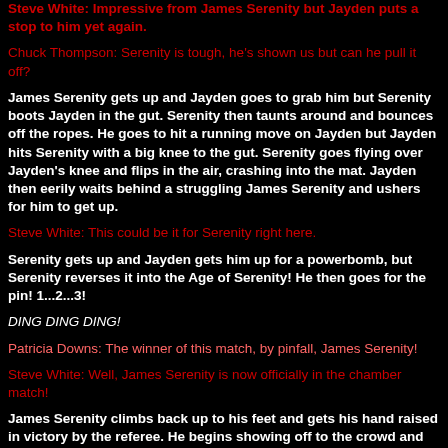Steve White: Impressive from James Serenity but Jayden puts a stop to him yet again.
Chuck Thompson: Serenity is tough, he's shown us but can he pull it off?
James Serenity gets up and Jayden goes to grab him but Serenity boots Jayden in the gut. Serenity then taunts around and bounces off the ropes. He goes to hit a running move on Jayden but Jayden hits Serenity with a big knee to the gut. Serenity goes flying over Jayden's knee and flips in the air, crashing into the mat. Jayden then eerily waits behind a struggling James Serenity and ushers for him to get up.
Steve White: This could be it for Serenity right here.
Serenity gets up and Jayden gets him up for a powerbomb, but Serenity reverses it into the Age of Serenity! He then goes for the pin! 1...2...3!
DING DING DING!
Patricia Downs: The winner of this match, by pinfall, James Serenity!
Steve White: Well, James Serenity is now officially in the chamber match!
James Serenity climbs back up to his feet and gets his hand raised in victory by the referee. He begins showing off to the crowd and celebrating his victory as the scene fades out to a commercial break.
The scene comes back from a commercial break as what you Want by